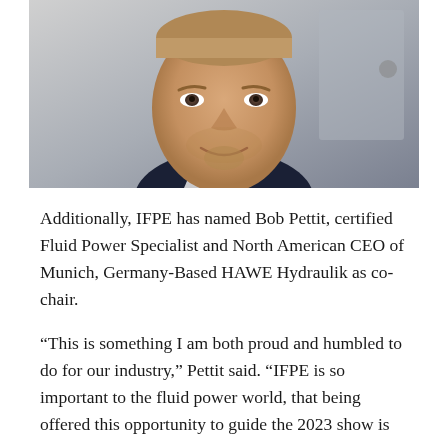[Figure (photo): Headshot portrait of Bob Pettit, a middle-aged man smiling, wearing a dark jacket with white stripe, photographed against a gray background.]
Additionally, IFPE has named Bob Pettit, certified Fluid Power Specialist and North American CEO of Munich, Germany-Based HAWE Hydraulik as co-chair.
“This is something I am both proud and humbled to do for our industry,” Pettit said. “IFPE is so important to the fluid power world, that being offered this opportunity to guide the 2023 show is